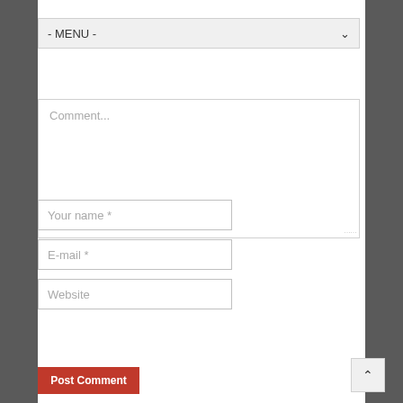[Figure (screenshot): Dropdown menu labeled '- MENU -' with a chevron/arrow indicator on the right]
[Figure (screenshot): Comment text area input with placeholder text 'Comment...' and resize handle]
[Figure (screenshot): Text input field with placeholder 'Your name *']
[Figure (screenshot): Text input field with placeholder 'E-mail *']
[Figure (screenshot): Text input field with placeholder 'Website']
[Figure (screenshot): reCAPTCHA widget with checkbox, label 'I'm not a robot', reCAPTCHA logo, Privacy and Terms links]
[Figure (screenshot): Red 'Post Comment' submit button]
[Figure (screenshot): Scroll-to-top button with upward arrow on right side]